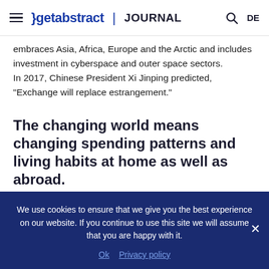getabstract | JOURNAL
embraces Asia, Africa, Europe and the Arctic and includes investment in cyberspace and outer space sectors.
In 2017, Chinese President Xi Jinping predicted, “Exchange will replace estrangement.”
The changing world means changing spending patterns and living habits at home as well as abroad.
Peter Frankopan
We use cookies to ensure that we give you the best experience on our website. If you continue to use this site we will assume that you are happy with it.
Ok  Privacy policy